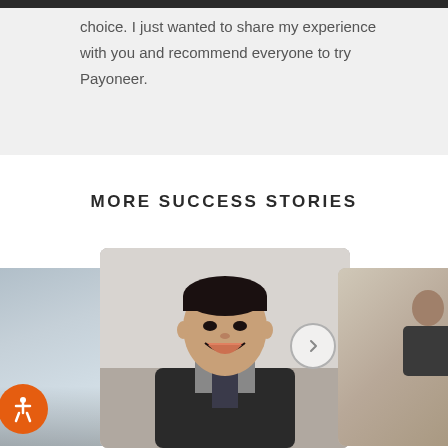choice. I just wanted to share my experience with you and recommend everyone to try Payoneer.
MORE SUCCESS STORIES
[Figure (photo): Three story cards in a carousel. Left card partially visible showing a product/storefront image with an orange accessibility badge at bottom left. Center card shows a smiling Asian man in a dark vest and patterned tie against a blurred office background. Right card partially visible showing people in an office setting. A circular navigation arrow button is visible between center and right cards.]